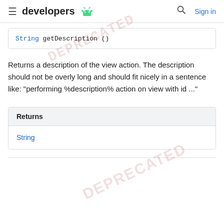developers
String getDescription ()
Returns a description of the view action. The description should not be overly long and should fit nicely in a sentence like: "performing %description% action on view with id ..."
| Returns |
| --- |
| String |